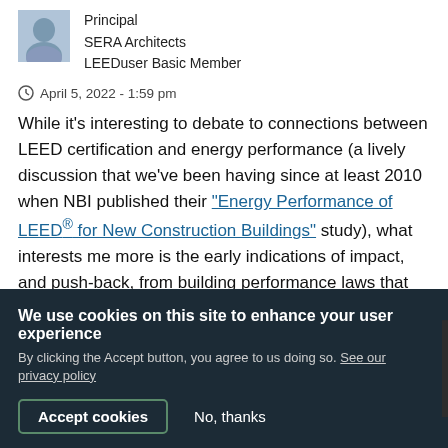[Figure (photo): Small avatar/profile photo of a person in a blue/purple shirt]
Principal
SERA Architects
LEEDuser Basic Member
April 5, 2022 - 1:59 pm
While it's interesting to debate to connections between LEED certification and energy performance (a lively discussion that we've been having since at least 2010 when NBI published their "Energy Performance of LEED® for New Construction Buildings" study), what interests me more is the early indications of impact, and push-back, from building performance laws that are starting to pop up all over the country.
These laws have huge potential to move the needle in how th
FEEDBACK
We use cookies on this site to enhance your user experience
By clicking the Accept button, you agree to us doing so. See our privacy policy
Accept cookies
No, thanks